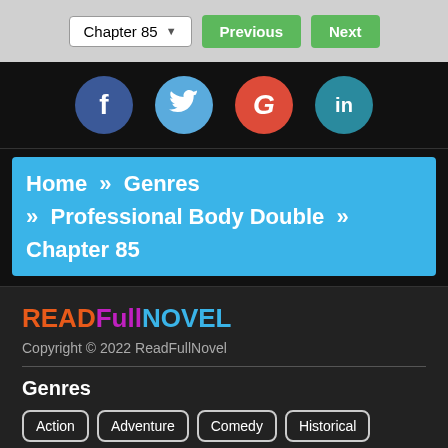Chapter 85  Previous  Next
[Figure (other): Social media share buttons: Facebook, Twitter, Google+, LinkedIn circular icons]
Home » Genres » Professional Body Double » Chapter 85
[Figure (logo): READFULLNOVEL logo in orange, purple, and cyan text]
Copyright © 2022 ReadFullNovel
Genres
Action
Adventure
Comedy
Historical
Horror
Mature
Mystery
Shoujo
Shounen
Supernatural
Xuanhuan
Yuri